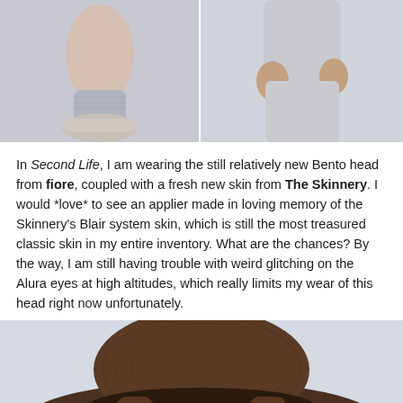[Figure (photo): Two side-by-side virtual avatar photos: left shows lower legs/feet of an avatar wearing grey knit socks and light shoes against a light grey background; right shows lower torso and legs of an avatar in light grey/beige pants against a similar background.]
In Second Life, I am wearing the still relatively new Bento head from fiore, coupled with a fresh new skin from The Skinnery. I would *love* to see an applier made in loving memory of the Skinnery's Blair system skin, which is still the most treasured classic skin in my entire inventory. What are the chances? By the way, I am still having trouble with weird glitching on the Alura eyes at high altitudes, which really limits my wear of this head right now unfortunately.
[Figure (photo): Virtual avatar wearing a wide-brimmed dark brown straw hat and brown hair, against a light blue-grey background. Only the top of the head and brim of the hat are visible.]